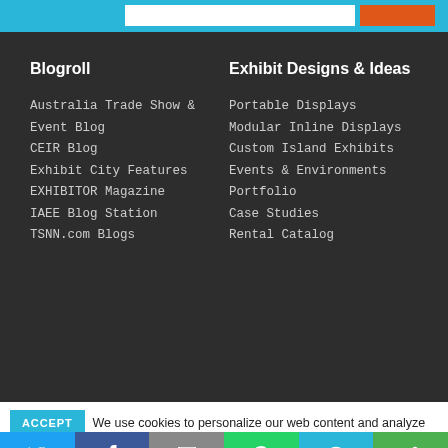Blogroll
Australia Trade Show & Event Blog
CEIR Blog
Exhibit City Features
EXHIBITOR Magazine
IAEE Blog Station
TSNN.com Blogs
Exhibit Designs & Ideas
Portable Displays
Modular Inline Displays
Custom Island Exhibits
Events & Environments
Portfolio
Case Studies
Rental Catalog
ACCEPT  We use cookies to personalize our web content and analyze our traffic. We share this information with Skyline dealers who may combine it with information you provided them